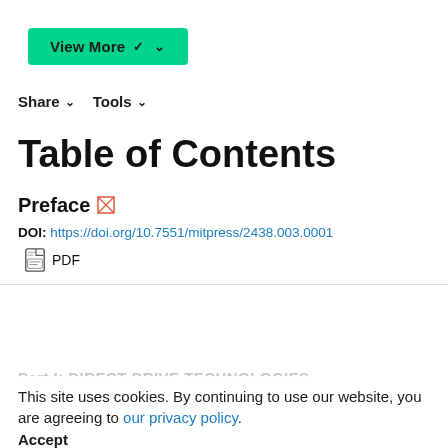View More ∨
Share ∨   Tools ∨
Table of Contents
Preface
DOI: https://doi.org/10.7551/mitpress/2438.003.0001
PDF
This site uses cookies. By continuing to use our website, you are agreeing to our privacy policy. Accept